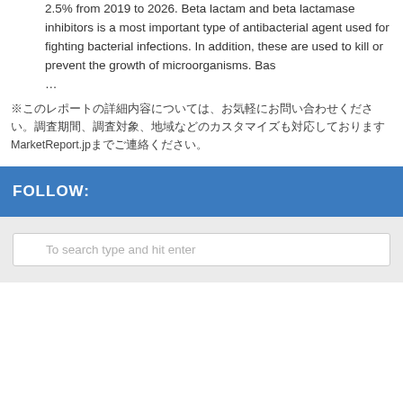2.5% from 2019 to 2026. Beta lactam and beta lactamase inhibitors is a most important type of antibacterial agent used for fighting bacterial infections. In addition, these are used to kill or prevent the growth of microorganisms. Bas
…
※このレポートの詳細内容については、お気軽にお問い合わせください。調査期間、調査対象、地域などのカスタマイズも対応しておりますMarketReport.jpまでご連絡ください。
FOLLOW:
To search type and hit enter